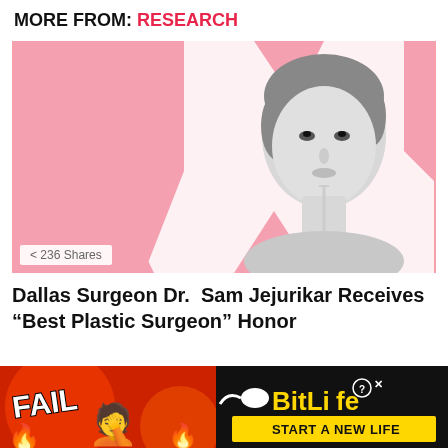MORE FROM: RESEARCH
[Figure (photo): A black-and-white photo of a woman's face receiving a cosmetic injection/syringe near her chin, set against a pink and white jagged background suggesting transformation or before/after. Social share count badge: 236 Shares.]
Dallas Surgeon Dr.  Sam Jejurikar Receives “Best Plastic Surgeon” Honor
[Figure (screenshot): Advertisement banner for BitLife mobile game. Features fire emojis, a facepalm emoji, FAIL text, and the BitLife logo with tagline START A NEW LIFE on a red/black background.]